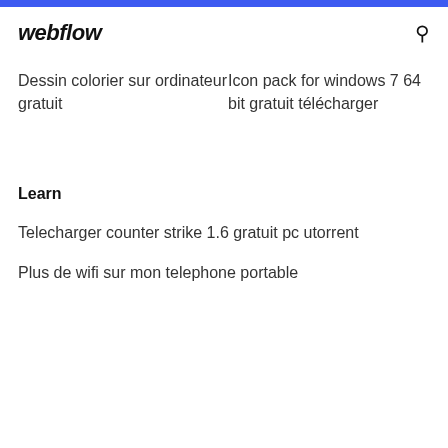webflow
Dessin colorier sur ordinateur gratuit
Icon pack for windows 7 64 bit gratuit télécharger
Learn
Telecharger counter strike 1.6 gratuit pc utorrent
Plus de wifi sur mon telephone portable